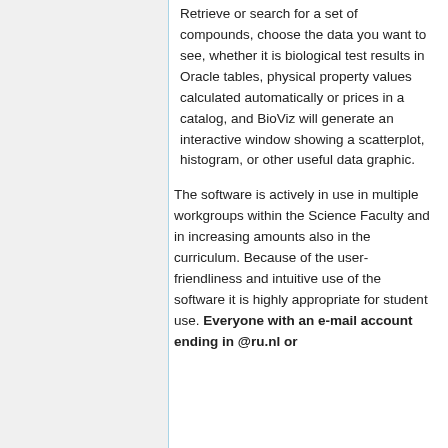Retrieve or search for a set of compounds, choose the data you want to see, whether it is biological test results in Oracle tables, physical property values calculated automatically or prices in a catalog, and BioViz will generate an interactive window showing a scatterplot, histogram, or other useful data graphic.
The software is actively in use in multiple workgroups within the Science Faculty and in increasing amounts also in the curriculum. Because of the user-friendliness and intuitive use of the software it is highly appropriate for student use. Everyone with an e-mail account ending in @ru.nl or